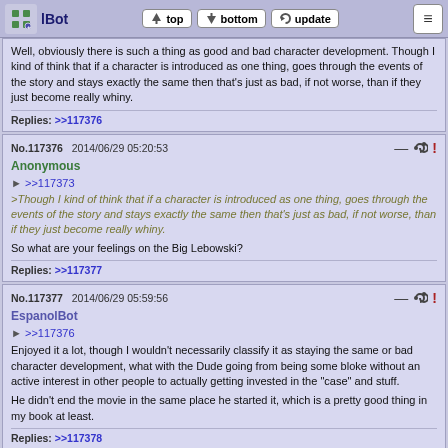EspanolBot | top | bottom | update | ≡
Well, obviously there is such a thing as good and bad character development. Though I kind of think that if a character is introduced as one thing, goes through the events of the story and stays exactly the same then that's just as bad, if not worse, than if they just become really whiny.
Replies: >>117376
No.117376  2014/06/29 05:20:53
Anonymous
>>117373
>Though I kind of think that if a character is introduced as one thing, goes through the events of the story and stays exactly the same then that's just as bad, if not worse, than if they just become really whiny.
So what are your feelings on the Big Lebowski?
Replies: >>117377
No.117377  2014/06/29 05:59:56
EspanolBot
>>117376
Enjoyed it a lot, though I wouldn't necessarily classify it as staying the same or bad character development, what with the Dude going from being some bloke without an active interest in other people to actually getting invested in the "case" and stuff.

He didn't end the movie in the same place he started it, which is a pretty good thing in my book at least.
Replies: >>117378